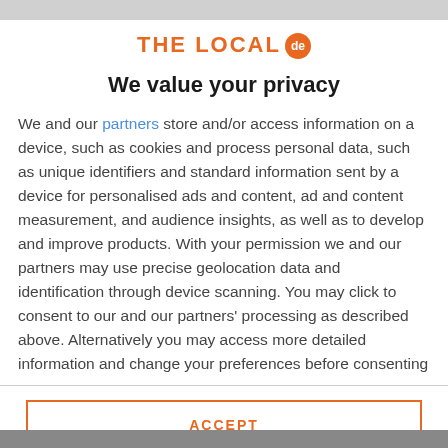[Figure (logo): THE LOCAL de logo in orange with a circle containing 'de']
We value your privacy
We and our partners store and/or access information on a device, such as cookies and process personal data, such as unique identifiers and standard information sent by a device for personalised ads and content, ad and content measurement, and audience insights, as well as to develop and improve products. With your permission we and our partners may use precise geolocation data and identification through device scanning. You may click to consent to our and our partners' processing as described above. Alternatively you may access more detailed information and change your preferences before consenting
ACCEPT
MORE OPTIONS